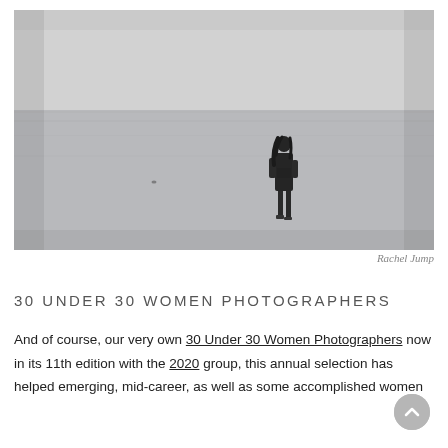[Figure (photo): Black and white photograph of a lone woman standing in shallow water or on a flat beach, viewed from behind at a distance, with a misty horizon and calm water in the background.]
Rachel Jump
30 UNDER 30 WOMEN PHOTOGRAPHERS
And of course, our very own 30 Under 30 Women Photographers now in its 11th edition with the 2020 group, this annual selection has helped emerging, mid-career, as well as some accomplished women photographers to reach further exposure and this is the deadline